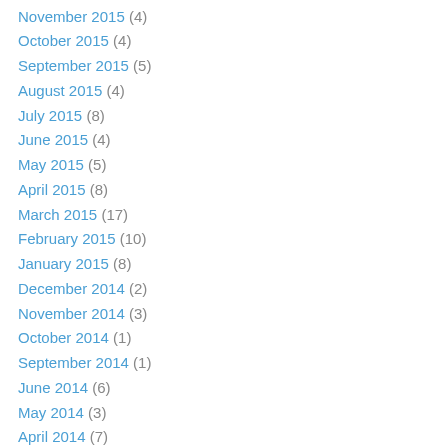November 2015 (4)
October 2015 (4)
September 2015 (5)
August 2015 (4)
July 2015 (8)
June 2015 (4)
May 2015 (5)
April 2015 (8)
March 2015 (17)
February 2015 (10)
January 2015 (8)
December 2014 (2)
November 2014 (3)
October 2014 (1)
September 2014 (1)
June 2014 (6)
May 2014 (3)
April 2014 (7)
March 2014 (14)
February 2014 (14)